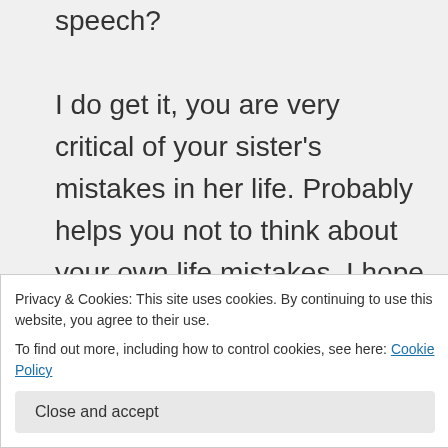speech? I do get it, you are very critical of your sister's mistakes in her life. Probably helps you not to think about your own life mistakes. I hope your sister finds healing and compassion from others, because she probably needs a lot.
Privacy & Cookies: This site uses cookies. By continuing to use this website, you agree to their use. To find out more, including how to control cookies, see here: Cookie Policy
Close and accept
15, 2014 at 3:59 am